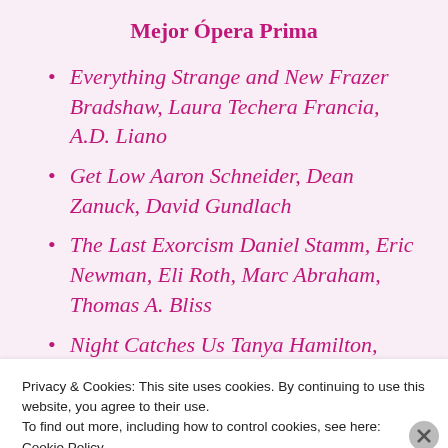Mejor Ópera Prima
Everything Strange and New Frazer Bradshaw, Laura Techera Francia, A.D. Liano
Get Low Aaron Schneider, Dean Zanuck, David Gundlach
The Last Exorcism Daniel Stamm, Eric Newman, Eli Roth, Marc Abraham, Thomas A. Bliss
Night Catches Us Tanya Hamilton, Ronald Simons, Sean
Privacy & Cookies: This site uses cookies. By continuing to use this website, you agree to their use. To find out more, including how to control cookies, see here: Cookie Policy
Close and accept